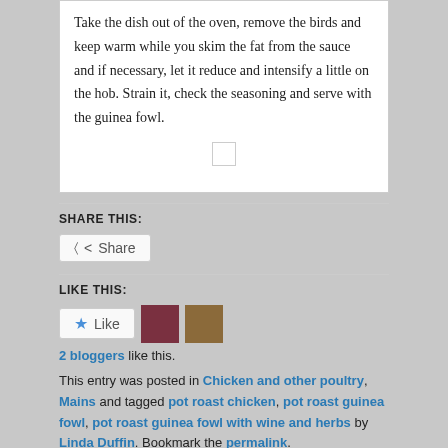Take the dish out of the oven, remove the birds and keep warm while you skim the fat from the sauce and if necessary, let it reduce and intensify a little on the hob. Strain it, check the seasoning and serve with the guinea fowl.
SHARE THIS:
Share button
LIKE THIS:
Like button with 2 blogger avatars. 2 bloggers like this.
This entry was posted in Chicken and other poultry, Mains and tagged pot roast chicken, pot roast guinea fowl, pot roast guinea fowl with wine and herbs by Linda Duffin. Bookmark the permalink.